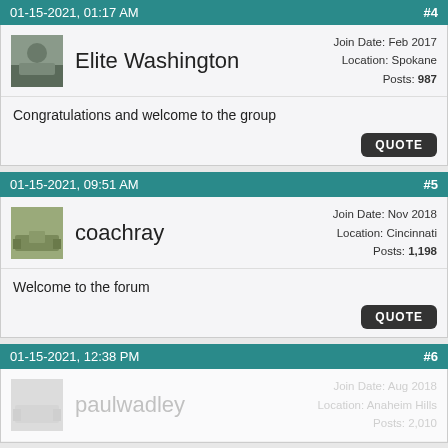01-15-2021, 01:17 AM  #4
Elite Washington  Join Date: Feb 2017  Location: Spokane  Posts: 987
Congratulations and welcome to the group
01-15-2021, 09:51 AM  #5
coachray  Join Date: Nov 2018  Location: Cincinnati  Posts: 1,198
Welcome to the forum
01-15-2021, 12:38 PM  #6
paulwadley  Join Date: Aug 2018  Location: Anaheim Hills  Posts: 2,010